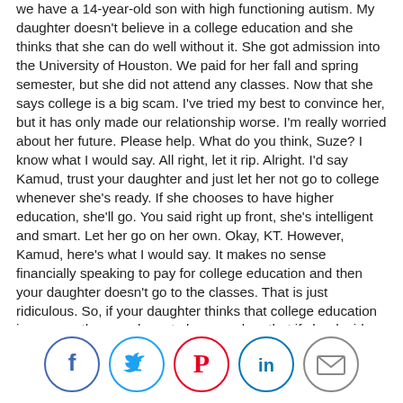we have a 14-year-old son with high functioning autism. My daughter doesn't believe in a college education and she thinks that she can do well without it. She got admission into the University of Houston. We paid for her fall and spring semester, but she did not attend any classes. Now that she says college is a big scam. I've tried my best to convince her, but it has only made our relationship worse. I'm really worried about her future. Please help. What do you think, Suze? I know what I would say. All right, let it rip. Alright. I'd say Kamud, trust your daughter and just let her not go to college whenever she's ready. If she chooses to have higher education, she'll go. You said right up front, she's intelligent and smart. Let her go on her own. Okay, KT. However, Kamud, here's what I would say. It makes no sense financially speaking to pay for college education and then your daughter doesn't go to the classes. That is just ridiculous. So, if your daughter thinks that college education is a scam, then you have to be very clear that if she decides not to go to college and she therefore has to go to work. That she therefore has to pay you to live at home, to eat in your home, and to do whatever else it is because someone has to learn, really the cost of living and what it means to be on your own. And obviously she wants to be on her own and she thinks she can make it. So even if she's staying at the house, there needs to be an amount of money that she pays you every single month. So, she gets used to that. Otherwise, it's a free
[Figure (other): Social media sharing icons: Facebook (blue circle), Twitter (blue circle), Pinterest (red circle), LinkedIn (blue circle), Email (gray circle)]